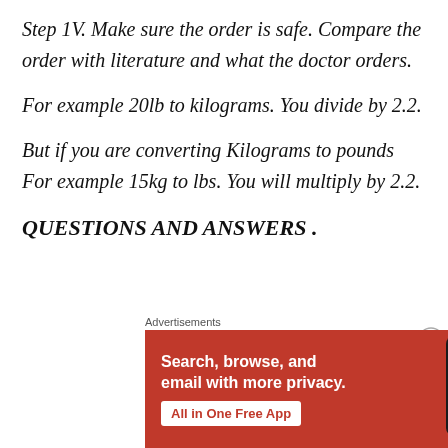Step 1V. Make sure the order is safe. Compare the order with literature and what the doctor orders.
For example 20lb to kilograms. You divide by 2.2.
But if you are converting Kilograms to pounds For example 15kg to lbs. You will multiply by 2.2.
QUESTIONS AND ANSWERS .
[Figure (other): DuckDuckGo advertisement banner: orange background with text 'Search, browse, and email with more privacy. All in One Free App' and DuckDuckGo logo with phone image.]